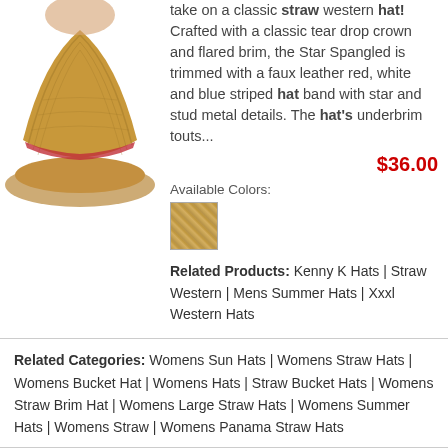[Figure (photo): Partial view of a straw western hat, tan/brown color, showing the brim and crown portion]
take on a classic straw western hat! Crafted with a classic tear drop crown and flared brim, the Star Spangled is trimmed with a faux leather red, white and blue striped hat band with star and stud metal details. The hat's underbrim touts...
$36.00
Available Colors:
[Figure (illustration): Color swatch showing tan/straw natural color]
Related Products: Kenny K Hats | Straw Western | Mens Summer Hats | Xxxl Western Hats
Related Categories: Womens Sun Hats | Womens Straw Hats | Womens Bucket Hat | Womens Hats | Straw Bucket Hats | Womens Straw Brim Hat | Womens Large Straw Hats | Womens Summer Hats | Womens Straw | Womens Panama Straw Hats
1